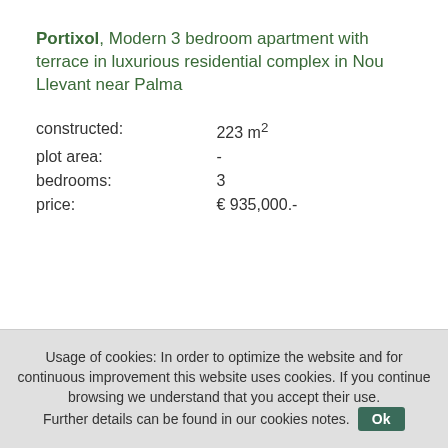Portixol, Modern 3 bedroom apartment with terrace in luxurious residential complex in Nou Llevant near Palma
| Property | Value |
| --- | --- |
| constructed: | 223 m² |
| plot area: | - |
| bedrooms: | 3 |
| price: | € 935,000.- |
Usage of cookies: In order to optimize the website and for continuous improvement this website uses cookies. If you continue browsing we understand that you accept their use. Further details can be found in our cookies notes. Ok